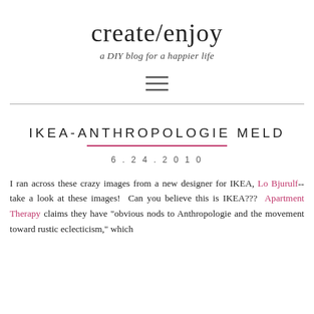create/enjoy
a DIY blog for a happier life
IKEA-ANTHROPOLOGIE MELD
6.24.2010
I ran across these crazy images from a new designer for IKEA, Lo Bjurulf--take a look at these images!  Can you believe this is IKEA???  Apartment Therapy claims they have "obvious nods to Anthropologie and the movement toward rustic eclecticism," which